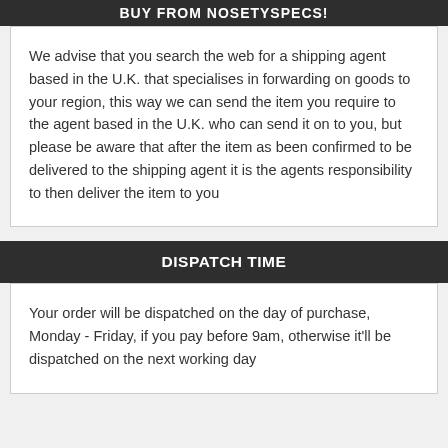BUY FROM NOSETYSPECS!
We advise that you search the web for a shipping agent based in the U.K. that specialises in forwarding on goods to your region, this way we can send the item you require to the agent based in the U.K. who can send it on to you, but please be aware that after the item as been confirmed to be delivered to the shipping agent it is the agents responsibility to then deliver the item to you
DISPATCH TIME
Your order will be dispatched on the day of purchase, Monday - Friday, if you pay before 9am, otherwise it'll be dispatched on the next working day